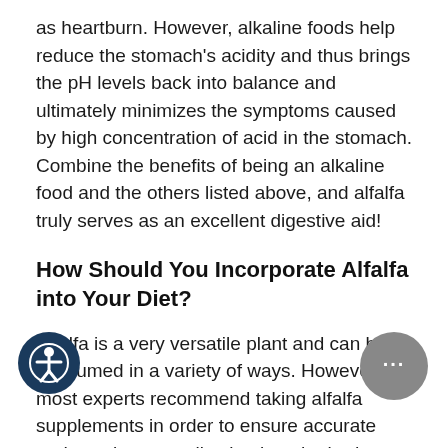as heartburn. However, alkaline foods help reduce the stomach's acidity and thus brings the pH levels back into balance and ultimately minimizes the symptoms caused by high concentration of acid in the stomach. Combine the benefits of being an alkaline food and the others listed above, and alfalfa truly serves as an excellent digestive aid!
How Should You Incorporate Alfalfa into Your Diet?
Alfalfa is a very versatile plant and can be consumed in a variety of ways. However, most experts recommend taking alfalfa supplements in order to ensure accurate and consistent application into the body. Supplements that specifically state the leaves of the alfalfa plant were used in creating the capsule ensure the greatest efficacy with relieving digestive discomfort. You may also consume alfalfa alone, in tea form, or in a soup or salad.
If you're the adventurous type, you can sprout your own alfalfa. Check out the sprout bags here and get yourself some alfalfa seeds here and you are on your way. Spring is the perfect time to